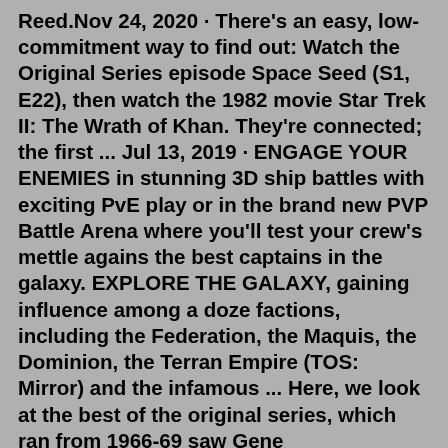Reed.Nov 24, 2020 · There's an easy, low-commitment way to find out: Watch the Original Series episode Space Seed (S1, E22), then watch the 1982 movie Star Trek II: The Wrath of Khan. They're connected; the first ... Jul 13, 2019 · ENGAGE YOUR ENEMIES in stunning 3D ship battles with exciting PvE play or in the brand new PVP Battle Arena where you'll test your crew's mettle agains the best captains in the galaxy. EXPLORE THE GALAXY, gaining influence among a doze factions, including the Federation, the Maquis, the Dominion, the Terran Empire (TOS: Mirror) and the infamous ... Here, we look at the best of the original series, which ran from 1966-69 saw Gene Roddenberry's vision brought to life by actors William Shatner (Spock), Leonard Nimoy (Spock), DeForest Kelley ...StarTrek.com. Capturing the spirit and general feel of The Next Generation near perfectly, A Final Unity is easily one of the best Star Trek games out there, even 25 years after its initial release. Players control Captain Picard and the rest of the TNG...